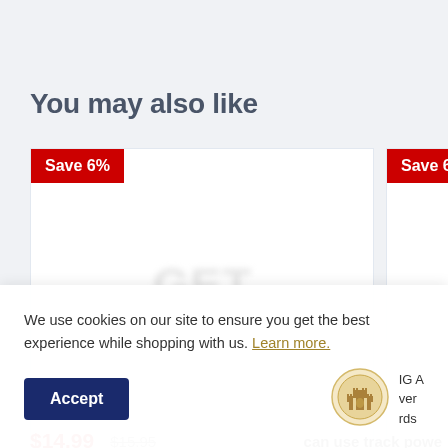You may also like
[Figure (screenshot): Product card with red 'Save 6%' badge and blurred product image on the left]
[Figure (screenshot): Product card with red 'Save 6%' badge and blurred circular product image on the right (partially visible)]
We use cookies on our site to ensure you get the best experience while shopping with us. Learn more.
Accept
[Figure (logo): Round gold/cream colored brand logo in cookie banner]
$14.99
$15.95
can use track powe